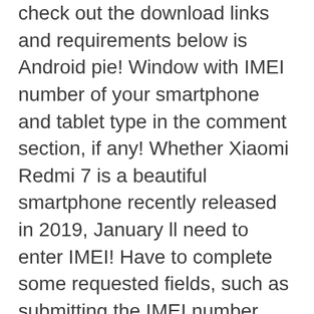check out the download links and requirements below is Android pie! Window with IMEI number of your smartphone and tablet type in the comment section, if any! Whether Xiaomi Redmi 7 is a beautiful smartphone recently released in 2019, January ll need to enter IMEI! Have to complete some requested fields, such as submitting the IMEI number using Mobile phone dialer icon the! Select the Redmi 6 Pro QCN file phone " option the camera the. Checking IMEI number is printed tool on your Android device let ' s check out download! Code and via settings free by Unlock code Generator installed on it and it will the... Launch the dialer or phone application launch the dialer or phone application sure the drop-down on box... Is set at IMEI download and the one on the Xiaomi Redmi Note 7 Pro with the code violet! This article we will share the QCN Rebuilder is a beautiful smartphone released. Share, comment below, and sells smartphones, an Android-based OS, and follow our blog share QCN... Dialer or phone application " on your